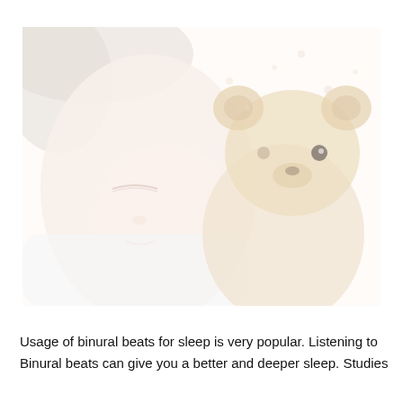[Figure (photo): A close-up, heavily washed-out/pale photo of a young child sleeping beside a stuffed teddy bear. The image is very light and desaturated, showing the child's face and the brown teddy bear with a dark button eye.]
Usage of binural beats for sleep is very popular. Listening to Binural beats can give you a better and deeper sleep. Studies